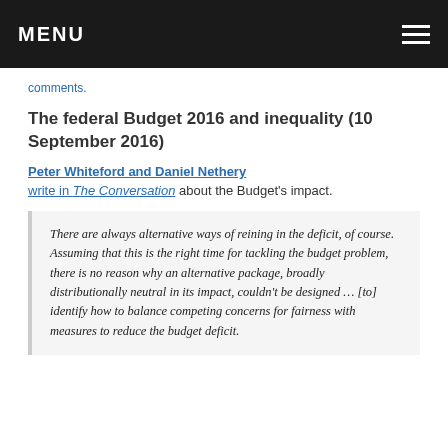MENU
comments.
The federal Budget 2016 and inequality (10 September 2016)
Peter Whiteford and Daniel Nethery write in The Conversation about the Budget’s impact.
There are always alternative ways of reining in the deficit, of course. Assuming that this is the right time for tackling the budget problem, there is no reason why an alternative package, broadly distributionally neutral in its impact, couldn’t be designed … [to] identify how to balance competing concerns for fairness with measures to reduce the budget deficit.